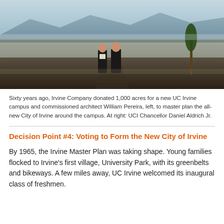[Figure (photo): Two men in dark suits standing on a hillside overlooking a vast undeveloped landscape with mountains in the background and a young tree at right. Likely William Pereira and UCI Chancellor Daniel Aldrich Jr. surveying the future campus site.]
Sixty years ago, Irvine Company donated 1,000 acres for a new UC Irvine campus and commissioned architect William Pereira, left, to master plan the all-new City of Irvine around the campus. At right: UCI Chancellor Daniel Aldrich Jr.
Decision Point #4: Voting to Form the New City of Irvine
By 1965, the Irvine Master Plan was taking shape. Young families flocked to Irvine's first village, University Park, with its greenbelts and bikeways. A few miles away, UC Irvine welcomed its inaugural class of freshmen.